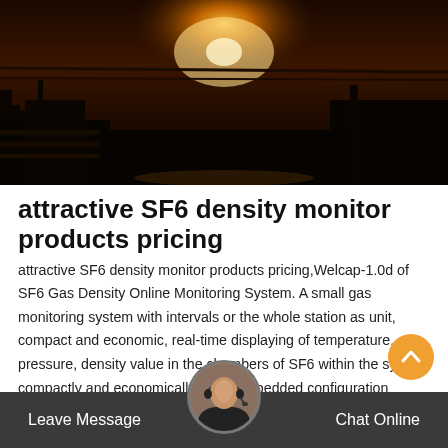[Figure (photo): Dark industrial/warehouse scene with warm orange sunset or light visible through windows/openings in the background. Silhouettes of equipment and structures.]
attractive SF6 density monitor products pricing
attractive SF6 density monitor products pricing,Welcap-1.0d of SF6 Gas Density Online Monitoring System. A small gas monitoring system with intervals or the whole station as unit, compact and economic, real-time displaying of temperature, pressure, density value in the chambers of SF6 within the system compactly and economically.. HMI embedded configuration software, stable and reliable o ; touch screen design, intuiti d
Leave Message   Chat Online